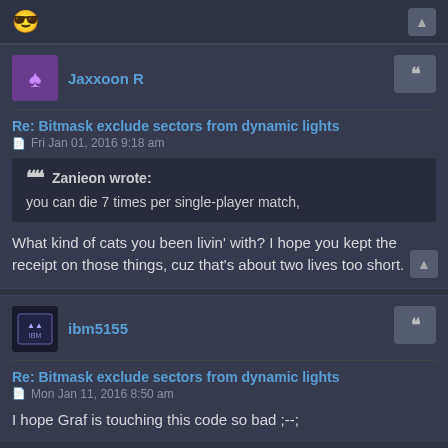[Figure (other): Top bar with emoji face icon and scroll-up button]
Jaxxoon R
Re: Bitmask exclude sectors from dynamic lights
Fri Jan 01, 2016 9:18 am
Zanieon wrote: you can die 7 times per single-player match,
What kind of cats you been livin' with? I hope you kept the receipt on those things, cuz that's about two lives too short.
ibm5155
Re: Bitmask exclude sectors from dynamic lights
Mon Jan 11, 2016 8:50 am
I hope Graf is touching this code so bad ;--;